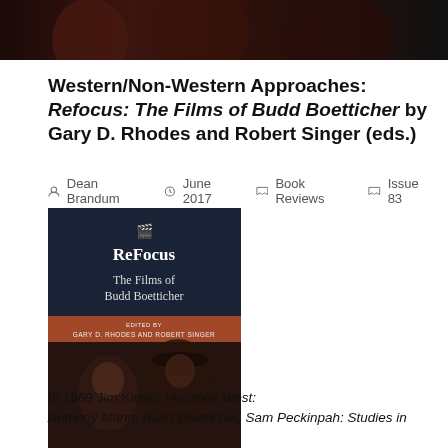[Figure (photo): Dark header image showing people, likely a film still in sepia/dark tones]
Western/Non-Western Approaches: Refocus: The Films of Budd Boetticher by Gary D. Rhodes and Robert Singer (eds.)
Dean Brandum   June 2017   Book Reviews   Issue 83
[Figure (photo): Book cover for 'ReFocus: The Films of Budd Boetticher' edited by Gary D. Rhodes and Robert Singer. Dark navy top section with ReFocus title and subtitle, a brown/orange band with editor names, and a black-and-white film still below showing a man in a cowboy hat and a woman.]
In 1969 Jim Kitses' Horizons West: Anthony Mann, Budd Boetticher, Sam Peckinpah: Studies in